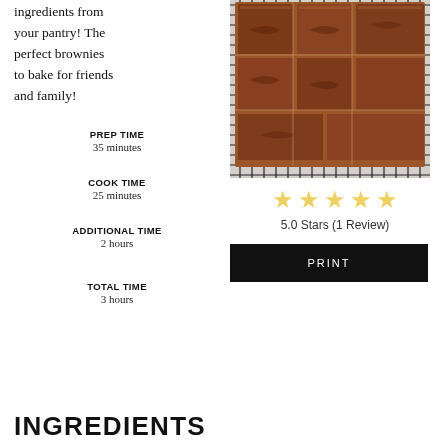ingredients from your pantry! The perfect brownies to bake for friends and family!
PREP TIME
35 minutes
COOK TIME
25 minutes
ADDITIONAL TIME
2 hours
TOTAL TIME
3 hours
[Figure (photo): Overhead view of cut brownies on a wire cooling rack]
5.0 Stars (1 Review)
PRINT
INGREDIENTS